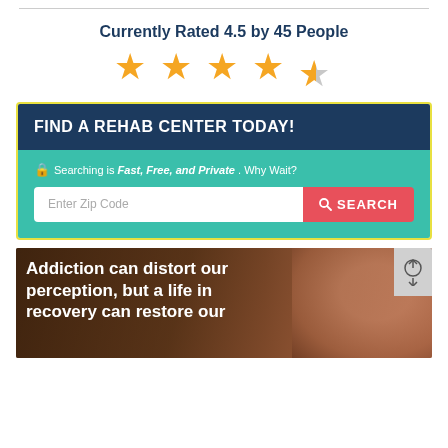Currently Rated 4.5 by 45 People
[Figure (other): 5-star rating display showing 4.5 stars — four full gold stars and one half-gold half-grey star]
FIND A REHAB CENTER TODAY!
Searching is Fast, Free, and Private . Why Wait?
Enter Zip Code  SEARCH
[Figure (photo): Banner image with dark brown overlay showing woman's face on right side, with white bold text on left reading: Addiction can distort our perception, but a life in recovery can restore our]